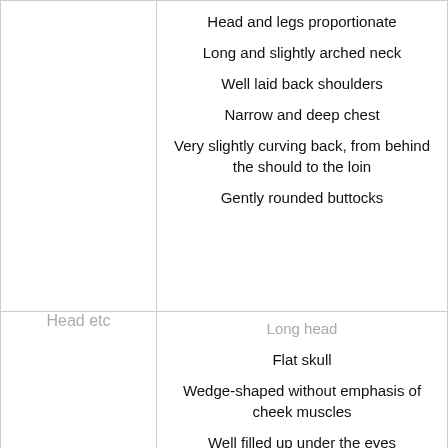|  |  |
| --- | --- |
|  | Head and legs proportionate
Long and slightly arched neck
Well laid back shoulders
Narrow and deep chest
Very slightly curving back, from behind the should to the loin
Gently rounded buttocks |
| Head etc | Long head
Flat skull
Wedge-shaped without emphasis of cheek muscles
Well filled up under the eyes
Jaws strong and held tightly together |